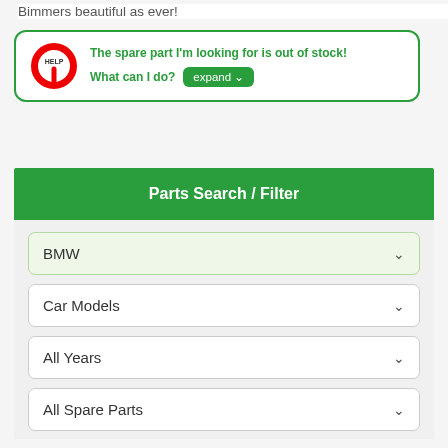Bimmers beautiful as ever!
[Figure (infographic): Help box with red HELP icon circle, green border, bold green text: 'The spare part I'm looking for is out of stock! What can I do?' and a green 'expand' button with chevron.]
Parts Search / Filter
BMW
Car Models
All Years
All Spare Parts